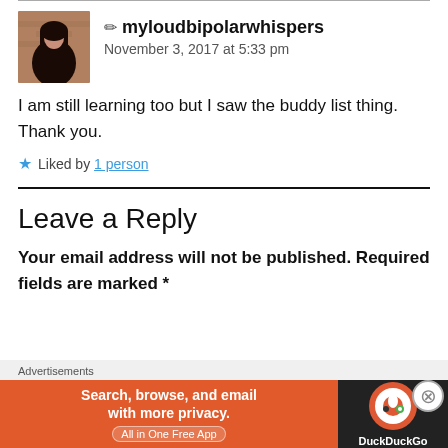[Figure (photo): Avatar photo of a woman with dark hair against a brick background]
✏ myloudbipolarwhispers
November 3, 2017 at 5:33 pm
I am still learning too but I saw the buddy list thing. Thank you.
Liked by 1 person
Leave a Reply
Your email address will not be published. Required fields are marked *
[Figure (screenshot): DuckDuckGo advertisement banner: 'Search, browse, and email with more privacy. All in One Free App' with DuckDuckGo logo on dark right panel]